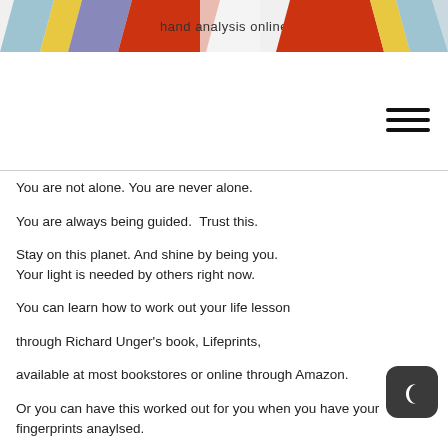[Figure (illustration): Colorful diagonal striped banner with text 'hand analysis online' in the center, used as a website header logo]
[Figure (other): Hamburger menu icon (three horizontal lines) in the top-right area]
You are not alone. You are never alone.
You are always being guided.  Trust this.
Stay on this planet. And shine by being you.
Your light is needed by others right now.
You can learn how to work out your life lesson
through Richard Unger's book, Lifeprints,
available at most bookstores or online through Amazon.
Or you can have this worked out for you when you have your fingerprints anaylsed.
You can have this done during a hand analysis consultation
[Figure (other): Dark mode toggle button showing a crescent moon icon on a dark rounded square background]